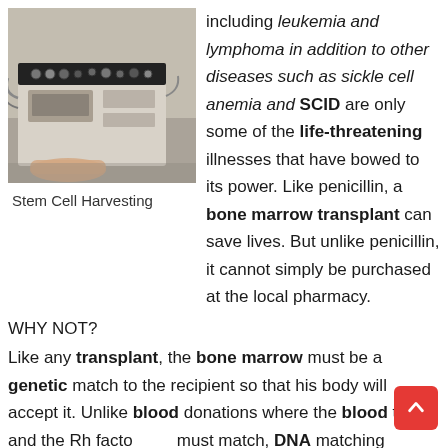[Figure (photo): A medical stem cell harvesting machine with knobs and panels connected to tubes, with a person's arm visible.]
Stem Cell Harvesting
including leukemia and lymphoma in addition to other diseases such as sickle cell anemia and SCID are only some of the life-threatening illnesses that have bowed to its power. Like penicillin, a bone marrow transplant can save lives. But unlike penicillin, it cannot simply be purchased at the local pharmacy.
WHY NOT?
Like any transplant, the bone marrow must be a genetic match to the recipient so that his body will accept it. Unlike blood donations where the blood type and the Rh factor must match, DNA matching involves many more components. Finding that match is often described as